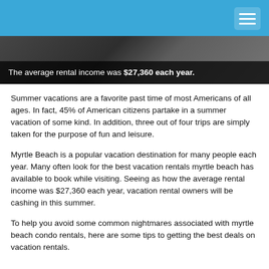[Figure (photo): A dark image strip with overlaid text reading: The average rental income was $27,360 each year.]
Summer vacations are a favorite past time of most Americans of all ages. In fact, 45% of American citizens partake in a summer vacation of some kind. In addition, three out of four trips are simply taken for the purpose of fun and leisure.
Myrtle Beach is a popular vacation destination for many people each year. Many often look for the best vacation rentals myrtle beach has available to book while visiting. Seeing as how the average rental income was $27,360 each year, vacation rental owners will be cashing in this summer.
To help you avoid some common nightmares associated with myrtle beach condo rentals, here are some tips to getting the best deals on vacation rentals.